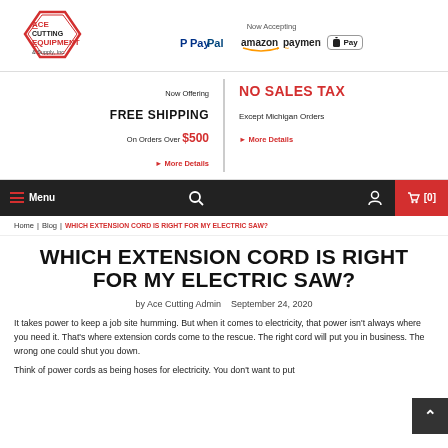[Figure (logo): Ace Cutting Equipment & Supply, Inc. diamond logo]
[Figure (infographic): Now Accepting: PayPal, Amazon Payments, Apple Pay logos]
Now Offering FREE SHIPPING On Orders Over $500 ▶ More Details | NO SALES TAX Except Michigan Orders ▶ More Details
≡ Menu | Search | Account | 🛒 [0]
Home | Blog | WHICH EXTENSION CORD IS RIGHT FOR MY ELECTRIC SAW?
WHICH EXTENSION CORD IS RIGHT FOR MY ELECTRIC SAW?
by Ace Cutting Admin   September 24, 2020
It takes power to keep a job site humming. But when it comes to electricity, that power isn't always where you need it. That's where extension cords come to the rescue. The right cord will put you in business. The wrong one could shut you down.
Think of power cords as being hoses for electricity. You don't want to put